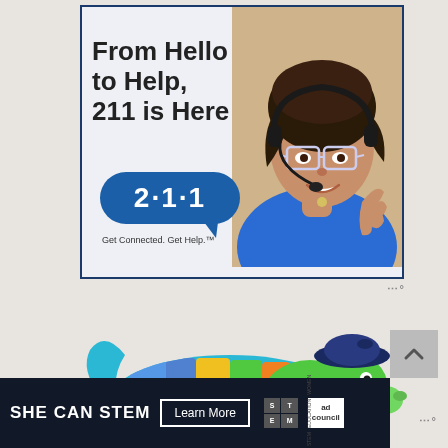[Figure (advertisement): 211 advertisement: 'From Hello to Help, 211 is Here' with a woman wearing a headset and glasses, a blue speech bubble showing '2·1·1', and tagline 'Get Connected. Get Help.']
[Figure (illustration): Colorful dachshund dog illustration made of rainbow stripes (blue, purple, yellow, green, orange) with a dark blue beret hat]
[Figure (advertisement): SHE CAN STEM advertisement on dark background with 'Learn More' button, STEM logo grid, and Ad Council logo]